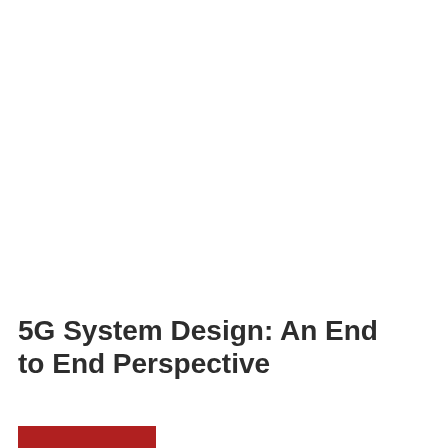5G System Design: An End to End Perspective